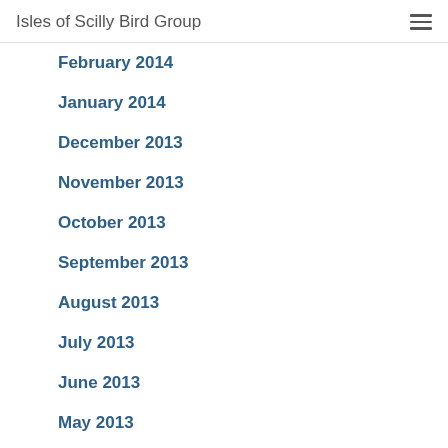Isles of Scilly Bird Group
February 2014
January 2014
December 2013
November 2013
October 2013
September 2013
August 2013
July 2013
June 2013
May 2013